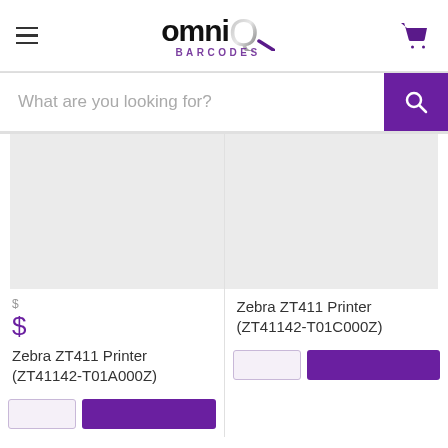[Figure (logo): OmniQ Barcodes logo with hamburger menu and cart icon in header]
What are you looking for?
[Figure (photo): Product image placeholder for Zebra ZT411 Printer ZT41142-T01A000Z (light gray background)]
$
$
Zebra ZT411 Printer (ZT41142-T01A000Z)
[Figure (photo): Product image placeholder for Zebra ZT411 Printer ZT41142-T01C000Z (light gray background)]
Zebra ZT411 Printer (ZT41142-T01C000Z)